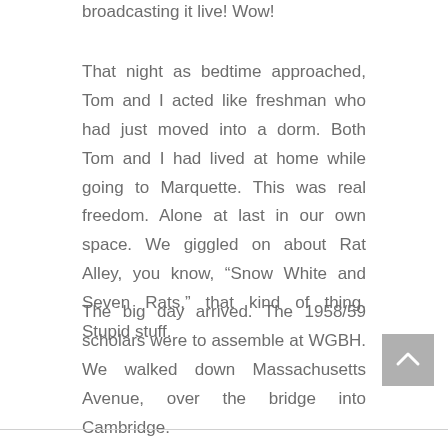broadcasting it live! Wow!
That night as bedtime approached, Tom and I acted like freshman who had just moved into a dorm. Both Tom and I had lived at home while going to Marquette. This was real freedom. Alone at last in our own space. We giggled on about Rat Alley, you know, “Snow White and Seven Rats,” that kind of thing. Stupid stuff.
The big day arrived. The 1958/59 scholars were to assemble at WGBH. We walked down Massachusetts Avenue, over the bridge into Cambridge.